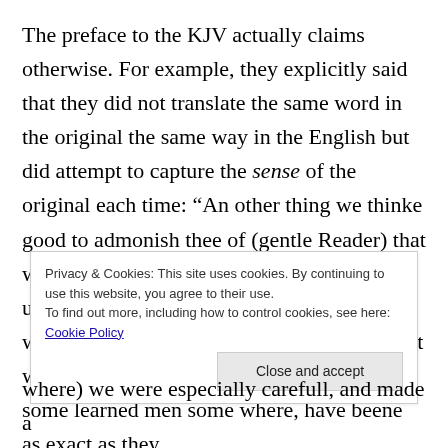The preface to the KJV actually claims otherwise. For example, they explicitly said that they did not translate the same word in the original the same way in the English but did attempt to capture the sense of the original each time: “An other thing we thinke good to admonish thee of (gentle Reader) that wee have not tyed our selves to an uniformitie of phrasing, or to an identitie of words, as some peradventure would wish that we had done, because they observe, that some learned men some where, have beene as exact as they
Privacy & Cookies: This site uses cookies. By continuing to use this website, you agree to their use.
To find out more, including how to control cookies, see here: Cookie Policy
Close and accept
where) we were especially carefull, and made a